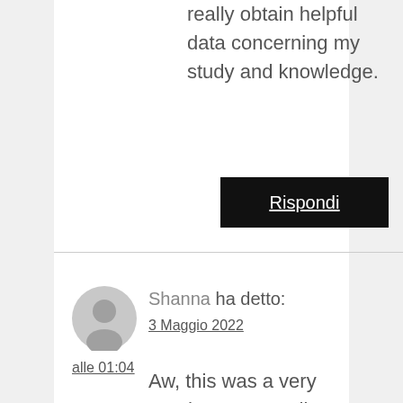really obtain helpful data concerning my study and knowledge.
Rispondi
Shanna ha detto: 3 Maggio 2022 alle 01:04
Aw, this was a very good post. Spending some time